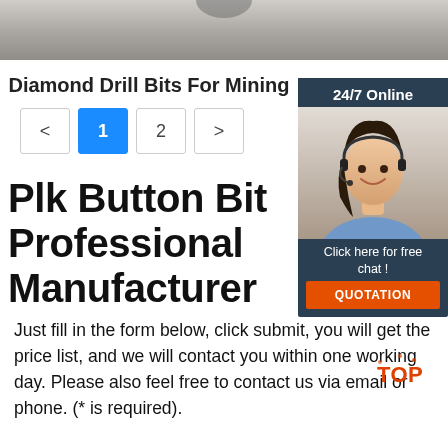[Figure (photo): Top portion of a photo showing drilling equipment or similar industrial machinery, gray/concrete background]
Diamond Drill Bits For Mining
[Figure (other): Pagination controls showing < 1 2 > with page 1 highlighted in blue]
[Figure (other): Customer service widget showing 24/7 Online, photo of a woman with headset, 'Click here for free chat!' text and QUOTATION button]
Plk Button Bit Professional Manufacturer
Just fill in the form below, click submit, you will get the price list, and we will contact you within one working day. Please also feel free to contact us via email or phone. (* is required).